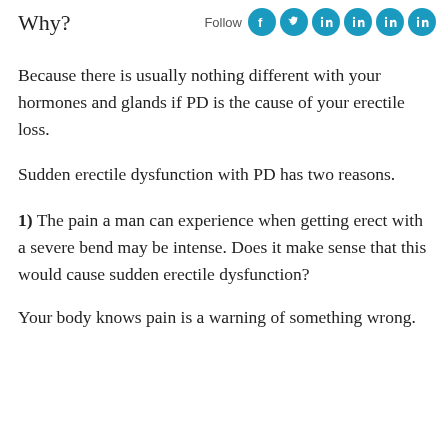Follow [social icons]
Why?
Because there is usually nothing different with your hormones and glands if PD is the cause of your erectile loss.
Sudden erectile dysfunction with PD has two reasons.
1)  The pain a man can experience when getting erect with a severe bend may be intense. Does it make sense that this would cause sudden erectile dysfunction?
Your body knows pain is a warning of something wrong.